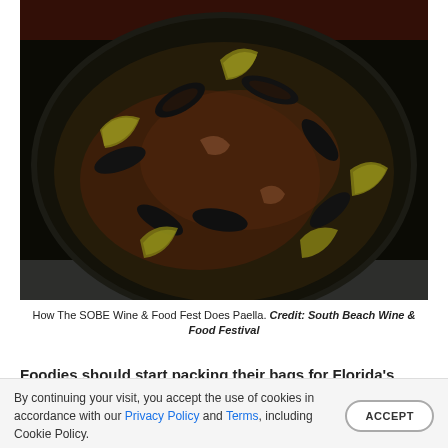[Figure (photo): A dark overhead photo of a large pan of paella with mussels, shrimp, lemon wedges and various seafood toppings at the South Beach Wine & Food Festival]
How The SOBE Wine & Food Fest Does Paella. Credit: South Beach Wine & Food Festival
Foodies should start packing their bags for Florida's sunny
By continuing your visit, you accept the use of cookies in accordance with our Privacy Policy and Terms, including Cookie Policy.
ACCEPT